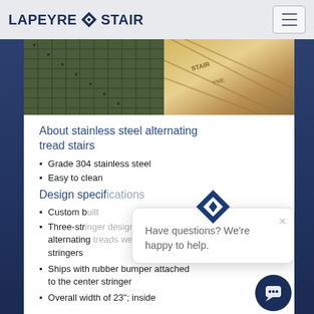LAPEYRE STAIR
[Figure (photo): Close-up photo of stainless steel alternating tread stair components including grating and metal stringers with engravings]
About stainless steel alternating tread stairs
Grade 304 stainless steel
Easy to clean
Design specif[ications]
Custom b[uilt]
Three-str[inger design with] alternating [treads welded to the] stringers
Ships with rubber bumper attached to the center stringer
Overall width of 23"; inside